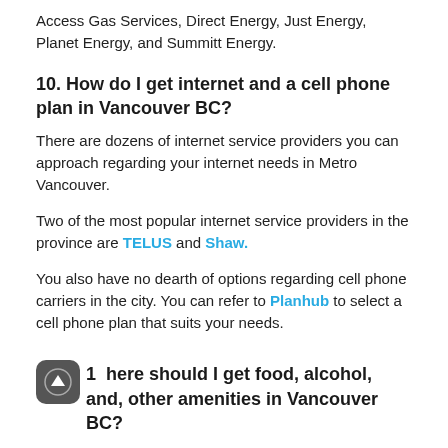Access Gas Services, Direct Energy, Just Energy, Planet Energy, and Summitt Energy.
10. How do I get internet and a cell phone plan in Vancouver BC?
There are dozens of internet service providers you can approach regarding your internet needs in Metro Vancouver.
Two of the most popular internet service providers in the province are TELUS and Shaw.
You also have no dearth of options regarding cell phone carriers in the city. You can refer to Planhub to select a cell phone plan that suits your needs.
11. Where should I get food, alcohol, and, other amenities in Vancouver BC?